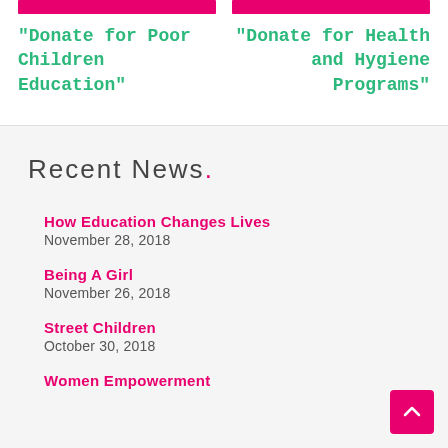"Donate for Poor Children Education"
"Donate for Health and Hygiene Programs"
Recent News.
How Education Changes Lives
November 28, 2018
Being A Girl
November 26, 2018
Street Children
October 30, 2018
Women Empowerment